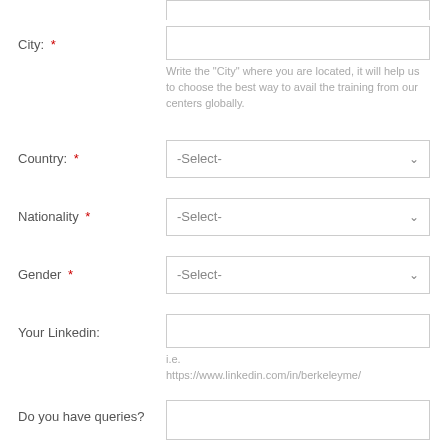City: * [input field]
Write the "City" where you are located, it will help us to choose the best way to avail the training from our centers globally.
Country: * -Select-
Nationality * -Select-
Gender * -Select-
Your Linkedin: [input field]
i.e. https://www.linkedin.com/in/berkeleyme/
Do you have queries? [textarea]